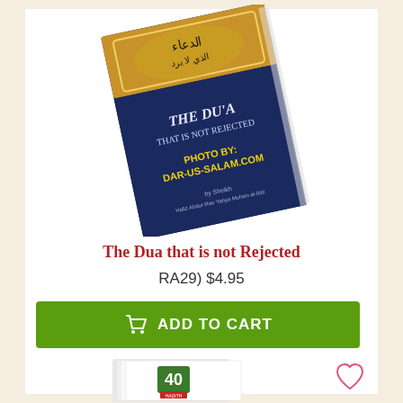[Figure (photo): Book cover of 'The Du'a That Is Not Rejected' - a navy blue book with gold Arabic text and golden ornamental border, shown at an angle. Text on cover: 'THE DU'A THAT IS NOT REJECTED'. Yellow text: 'PHOTO BY: DAR-US-SALAM.COM']
The Dua that is not Rejected
RA29) $4.95
ADD TO CART
[Figure (photo): Partial view of a second book with '40' on its cover, a white booklet/pamphlet style book shown at bottom of page]